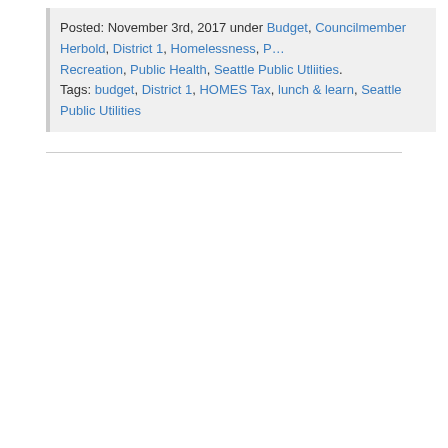Posted: November 3rd, 2017 under Budget, Councilmember Herbold, District 1, Homelessness, P… Recreation, Public Health, Seattle Public Utliities. Tags: budget, District 1, HOMES Tax, lunch & learn, Seattle Public Utilities